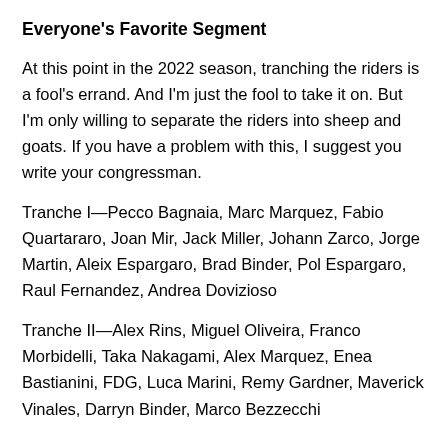Everyone's Favorite Segment
At this point in the 2022 season, tranching the riders is a fool's errand. And I'm just the fool to take it on. But I'm only willing to separate the riders into sheep and goats. If you have a problem with this, I suggest you write your congressman.
Tranche I—Pecco Bagnaia, Marc Marquez, Fabio Quartararo, Joan Mir, Jack Miller, Johann Zarco, Jorge Martin, Aleix Espargaro, Brad Binder, Pol Espargaro, Raul Fernandez, Andrea Dovizioso
Tranche II—Alex Rins, Miguel Oliveira, Franco Morbidelli, Taka Nakagami, Alex Marquez, Enea Bastianini, FDG, Luca Marini, Remy Gardner, Maverick Vinales, Darryn Binder, Marco Bezzecchi